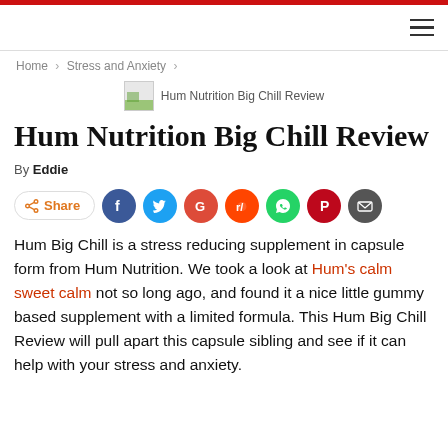Hum Nutrition Big Chill Review
Hum Nutrition Big Chill Review
By Eddie
[Figure (infographic): Social share button row: Share button, Facebook, Twitter, Google+, Reddit, WhatsApp, Pinterest, Email icons]
Hum Big Chill is a stress reducing supplement in capsule form from Hum Nutrition. We took a look at Hum's calm sweet calm not so long ago, and found it a nice little gummy based supplement with a limited formula. This Hum Big Chill Review will pull apart this capsule sibling and see if it can help with your stress and anxiety.